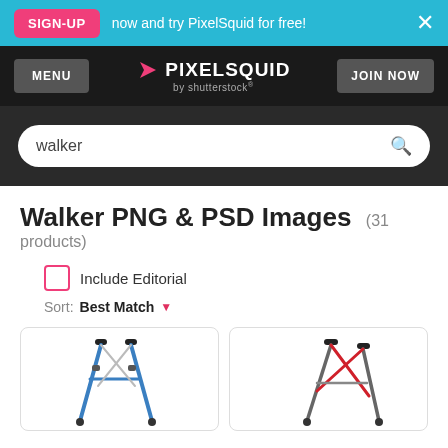SIGN-UP now and try PixelSquid for free!
MENU | PIXELSQUID by shutterstock | JOIN NOW
walker
Walker PNG & PSD Images (31 products)
Include Editorial
Sort: Best Match
[Figure (photo): Blue rollator walker product image on white background]
[Figure (photo): Red rollator walker product image on white background]